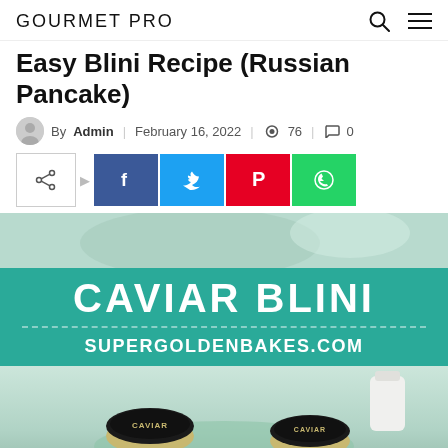GOURMET PRO
Easy Blini Recipe (Russian Pancake)
By Admin | February 16, 2022 | 76 | 0
[Figure (infographic): Social share buttons: native share, Facebook, Twitter, Pinterest, WhatsApp]
[Figure (photo): Food photo area showing top portion of a blini/caviar dish scene with a teal promotional banner reading CAVIAR BLINI / SUPERGOLDENBAKES.COM, and bottom portion showing caviar tins on a light green plate]
CAVIAR BLINI - SUPERGOLDENBAKES.COM